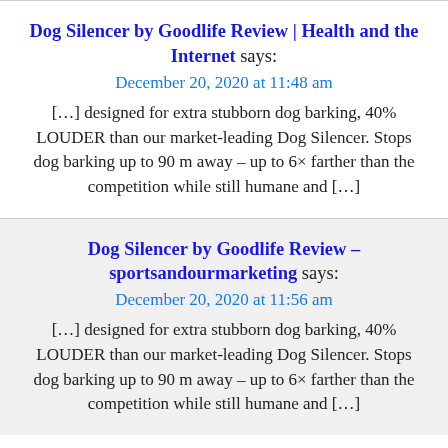Dog Silencer by Goodlife Review | Health and the Internet says:
December 20, 2020 at 11:48 am
[…] designed for extra stubborn dog barking, 40% LOUDER than our market-leading Dog Silencer. Stops dog barking up to 90 m away – up to 6× farther than the competition while still humane and […]
Dog Silencer by Goodlife Review – sportsandourmarketing says:
December 20, 2020 at 11:56 am
[…] designed for extra stubborn dog barking, 40% LOUDER than our market-leading Dog Silencer. Stops dog barking up to 90 m away – up to 6× farther than the competition while still humane and […]